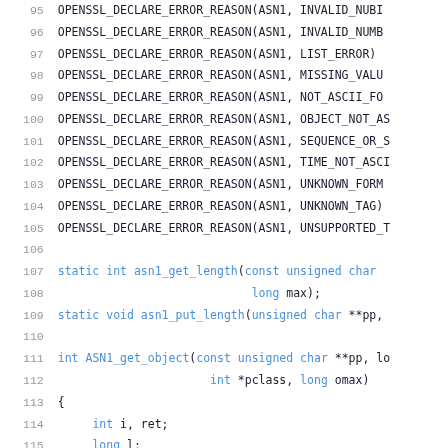Source code listing, lines 95-116, showing OpenSSL ASN1 error reason declarations and static function definitions
95: OPENSSL_DECLARE_ERROR_REASON(ASN1, INVALID_NUBI
96: OPENSSL_DECLARE_ERROR_REASON(ASN1, INVALID_NUMB
97: OPENSSL_DECLARE_ERROR_REASON(ASN1, LIST_ERROR)
98: OPENSSL_DECLARE_ERROR_REASON(ASN1, MISSING_VALU
99: OPENSSL_DECLARE_ERROR_REASON(ASN1, NOT_ASCII_FO
100: OPENSSL_DECLARE_ERROR_REASON(ASN1, OBJECT_NOT_AS
101: OPENSSL_DECLARE_ERROR_REASON(ASN1, SEQUENCE_OR_S
102: OPENSSL_DECLARE_ERROR_REASON(ASN1, TIME_NOT_ASCI
103: OPENSSL_DECLARE_ERROR_REASON(ASN1, UNKNOWN_FORM
104: OPENSSL_DECLARE_ERROR_REASON(ASN1, UNKNOWN_TAG)
105: OPENSSL_DECLARE_ERROR_REASON(ASN1, UNSUPPORTED_T
106: (blank)
107: static int asn1_get_length(const unsigned char
108:                              long max);
109: static void asn1_put_length(unsigned char **pp,
110: (blank)
111: int ASN1_get_object(const unsigned char **pp, lo
112:                     int *pclass, long omax)
113: {
114:     int i, ret;
115:     long l;
116:     const unsigned char *p = *pp;